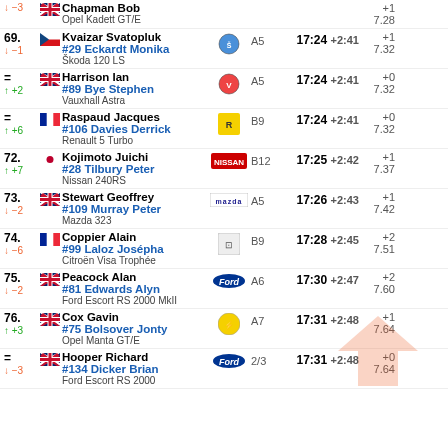| Pos | Change | Flag | Driver 1 | Car Logo | Class | Time | Gap | Points | Penalty |
| --- | --- | --- | --- | --- | --- | --- | --- | --- | --- |
|  | ↓−3 | GBR | #84 Chapman Bob | Opel | — | — | +1 | 7.28 | Opel Kadett GT/E |
| 69. | ↓−1 | CZE | #29 Kvaizar Svatopluk / Eckardt Monika | Škoda | A5 | 17:24 | +2:41 +1 | 7.32 | Škoda 120 LS |
| = | ↑+2 | GBR | #89 Harrison Ian / Bye Stephen | Vauxhall | A5 | 17:24 | +2:41 +0 | 7.32 | Vauxhall Astra |
| = | ↑+6 | FRA | #106 Raspaud Jacques / Davies Derrick | Renault | B9 | 17:24 | +2:41 +0 | 7.32 | Renault 5 Turbo |
| 72. | ↑+7 | JPN | #28 Kojimoto Juichi / Tilbury Peter | Nissan | B12 | 17:25 | +2:42 +1 | 7.37 | Nissan 240RS |
| 73. | ↓−2 | GBR | #109 Stewart Geoffrey / Murray Peter | Mazda | A5 | 17:26 | +2:43 +1 | 7.42 | Mazda 323 |
| 74. | ↓−6 | FRA | #99 Coppier Alain / Laloz Josépha | Citroën | B9 | 17:28 | +2:45 +2 | 7.51 | Citroën Visa Trophée |
| 75. | ↓−2 | GBR | #81 Peacock Alan / Edwards Alyn | Ford | A6 | 17:30 | +2:47 +2 | 7.60 | Ford Escort RS 2000 MkII |
| 76. | ↑+3 | GBR | #75 Cox Gavin / Bolsover Jonty | Opel | A7 | 17:31 | +2:48 +1 | 7.64 | Opel Manta GT/E |
| = | ↓−3 | GBR | #134 Hooper Richard / Dicker Brian | Ford | 2/3 | 17:31 | +2:48 +0 | 7.64 | Ford Escort RS 2000 |